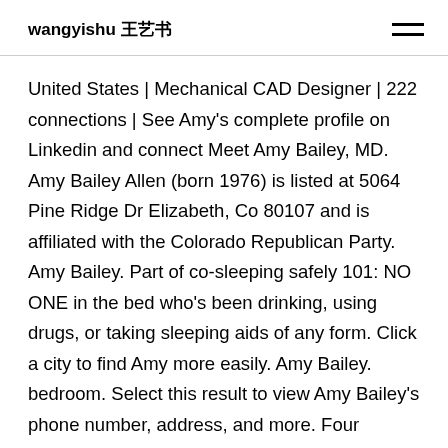wangyishu 王艺书
United States | Mechanical CAD Designer | 222 connections | See Amy's complete profile on Linkedin and connect Meet Amy Bailey, MD. Amy Bailey Allen (born 1976) is listed at 5064 Pine Ridge Dr Elizabeth, Co 80107 and is affiliated with the Colorado Republican Party. Amy Bailey. Part of co-sleeping safely 101: NO ONE in the bed who's been drinking, using drugs, or taking sleeping aids of any form. Click a city to find Amy more easily. Amy Bailey. bedroom. Select this result to view Amy Bailey's phone number, address, and more. Four persons linked to this address. Join. Amy